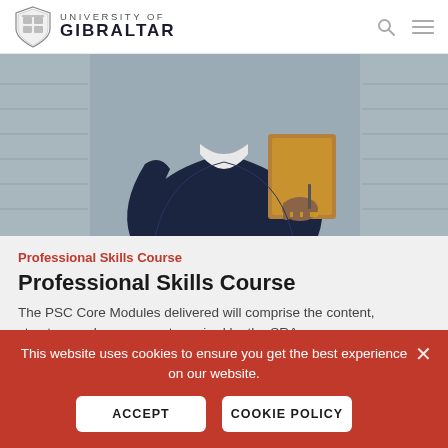UNIVERSITY OF GIBRALTAR
[Figure (photo): Person in dark navy blazer holding a brown folder/document, photographed from mid-torso, professional setting with blurred wooden background]
Professional Skills Course
Professional Skills Course
The PSC Core Modules delivered will comprise the content, structure and assessment required by the SRA
This website uses cookies to ensure you get the best experience on our website.
ACCEPT
COOKIE POLICY